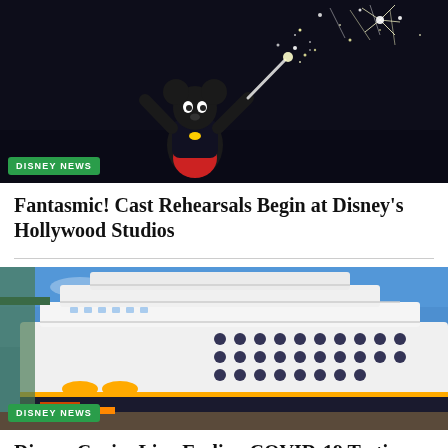[Figure (photo): Mickey Mouse in sorcerer costume with fireworks in the background at Fantasmic show]
DISNEY NEWS
Fantasmic! Cast Rehearsals Begin at Disney's Hollywood Studios
[Figure (photo): Disney cruise ship docked at port under blue sky, viewed from low angle]
DISNEY NEWS
Disney Cruise Line Ending COVID-19 Testing for U.S. Vaccinated Guests